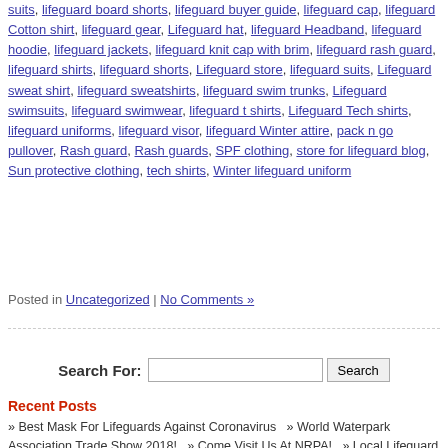suits, lifeguard board shorts, lifeguard buyer guide, lifeguard cap, lifeguard Cotton shirt, lifeguard gear, Lifeguard hat, lifeguard Headband, lifeguard hoodie, lifeguard jackets, lifeguard knit cap with brim, lifeguard rash guard, lifeguard shirts, lifeguard shorts, Lifeguard store, lifeguard suits, Lifeguard sweat shirt, lifeguard sweatshirts, lifeguard swim trunks, Lifeguard swimsuits, lifeguard swimwear, lifeguard t shirts, Lifeguard Tech shirts, lifeguard uniforms, lifeguard visor, lifeguard Winter attire, pack n go pullover, Rash guard, Rash guards, SPF clothing, store for lifeguard blog, Sun protective clothing, tech shirts, Winter lifeguard uniform
Posted in Uncategorized | No Comments »
Search For: [input] Search
Recent Posts
» Best Mask For Lifeguards Against Coronavirus   » World Waterpark Association Trade Show 2018!   » Come Visit Us At NRPA!   » Local Lifeguard Shop Has Moved!   » BigEasy® CPR